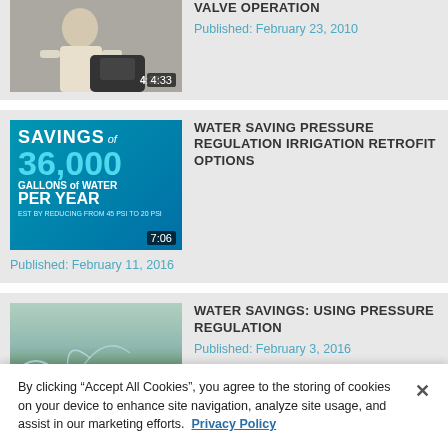[Figure (photo): Partial video thumbnail showing person with equipment, duration 4:33]
VALVE OPERATION
Published: February 23, 2010
[Figure (photo): Video thumbnail with text: SAVINGS of 36,000 GALLONS of WATER PER YEAR, duration 7:06]
WATER SAVING PRESSURE REGULATION IRRIGATION RETROFIT OPTIONS
Published: February 11, 2016
[Figure (photo): Video thumbnail showing sprinkler irrigation on grass field, with bar: PRESSURE REGULATION PRODUCTS, duration 2:16]
WATER SAVINGS: USING PRESSURE REGULATION
Published: February 3, 2016
By clicking “Accept All Cookies”, you agree to the storing of cookies on your device to enhance site navigation, analyze site usage, and assist in our marketing efforts.  Privacy Policy